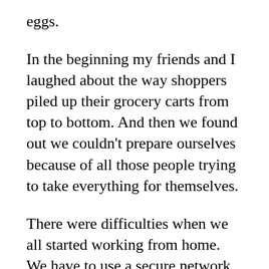eggs.
In the beginning my friends and I laughed about the way shoppers piled up their grocery carts from top to bottom. And then we found out we couldn't prepare ourselves because of all those people trying to take everything for themselves.
There were difficulties when we all started working from home. We have to use a secure network, but a lot of people weren't prepared for that or only found out about technical issues once they started working at home. Everyone went into a panic about